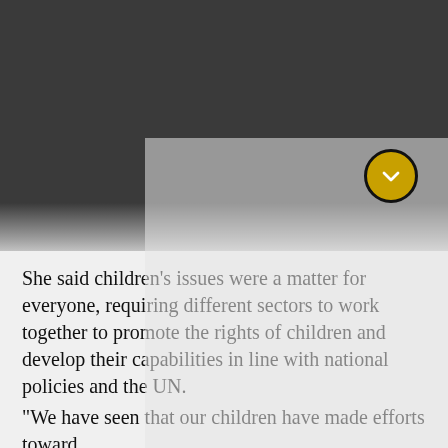[Figure (photo): Dark gray background image occupying the upper portion of the page, with a semi-transparent panel overlay visible in the lower-right portion and a gold/yellow circular chevron button]
She said children's issues were a matter for everyone, requiring different sectors to work together to promote the rights of children and develop their capabilities in line with national policies and the UN.
“We have seen that our children have made efforts toward…